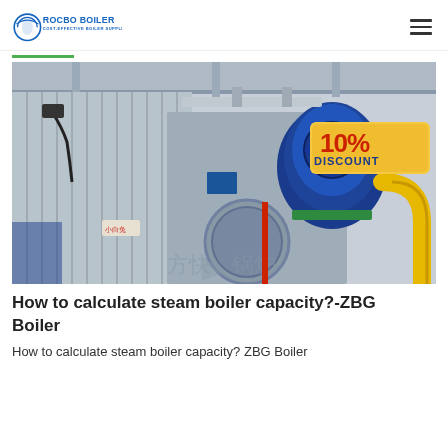ROCBO BOILER - COST-EFFECTIVE BOILER SUPPLIER
[Figure (photo): Industrial steam boiler in a factory setting with a large blue burner/motor assembly, grey boiler body with corrugated metal panels, yellow pipe fittings, and a red '10% DISCOUNT' badge in the upper right corner. Chinese watermark text visible at bottom.]
How to calculate steam boiler capacity?-ZBG Boiler
How to calculate steam boiler capacity? ZBG Boiler